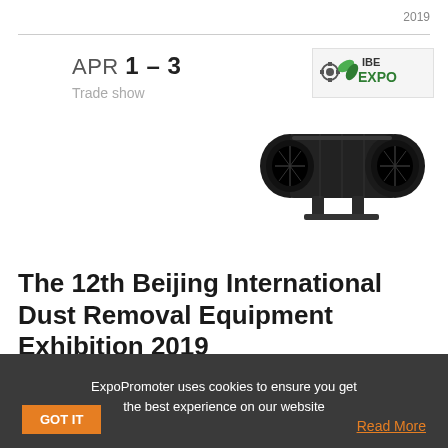2019
APR 1 – 3
Trade show
[Figure (logo): IBE EXPO logo badge with gear icon and green leaf, above a black inline duct fan product photo]
The 12th Beijing International Dust Removal Equipment Exhibition 2019
China, Beijing
The 12th Beijing International Dust Removal Equipment Exhibition 2019 - international event serving the dust removal industry.In order to promote the...
ExpoPromoter uses cookies to ensure you get the best experience on our website
GOT IT
Read More